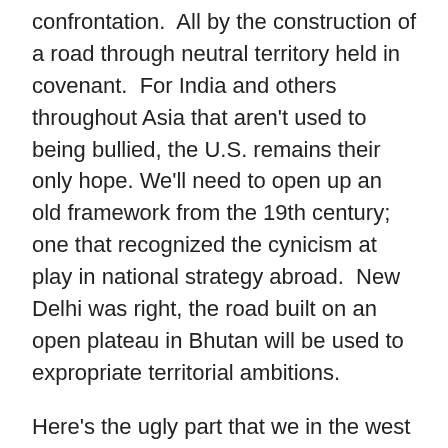confrontation.  All by the construction of a road through neutral territory held in covenant.  For India and others throughout Asia that aren't used to being bullied, the U.S. remains their only hope. We'll need to open up an old framework from the 19th century; one that recognized the cynicism at play in national strategy abroad.  New Delhi was right, the road built on an open plateau in Bhutan will be used to expropriate territorial ambitions.
Here's the ugly part that we in the west refuse to admit; the Han that rule from Beijing openly seek confrontation with smaller, weaker nation states; not because they can, but because the Han relish a sick social-Darwinian afterthought reminiscent of a certain German corporal; a racial undertone fit for archaic vanquished leadership.
Bring on the Han, their dementia can't stand the realism of